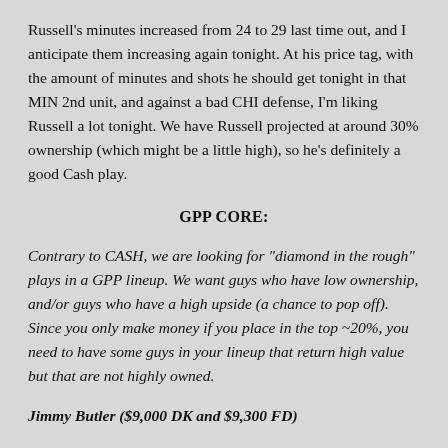Russell's minutes increased from 24 to 29 last time out, and I anticipate them increasing again tonight. At his price tag, with the amount of minutes and shots he should get tonight in that MIN 2nd unit, and against a bad CHI defense, I'm liking Russell a lot tonight. We have Russell projected at around 30% ownership (which might be a little high), so he's definitely a good Cash play.
GPP CORE:
Contrary to CASH, we are looking for "diamond in the rough" plays in a GPP lineup. We want guys who have low ownership, and/or guys who have a high upside (a chance to pop off). Since you only make money if you place in the top ~20%, you need to have some guys in your lineup that return high value but that are not highly owned.
Jimmy Butler ($9,000 DK and $9,300 FD)